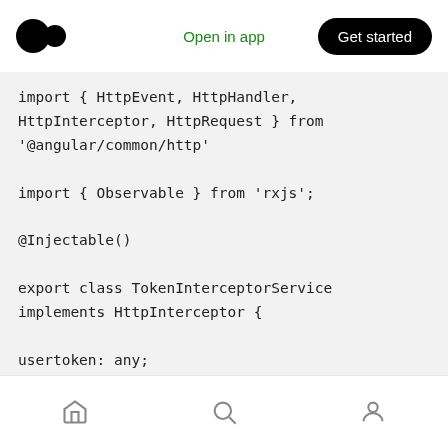Open in app | Get started
[Figure (screenshot): Code block showing TypeScript Angular HTTP interceptor service code on a grey background]
Home | Search | Profile navigation icons